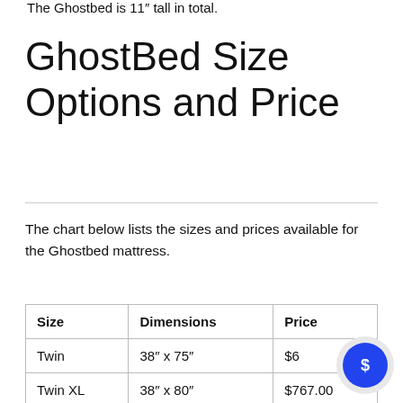The Ghostbed is 11″ tall in total.
GhostBed Size Options and Price
The chart below lists the sizes and prices available for the Ghostbed mattress.
| Size | Dimensions | Price |
| --- | --- | --- |
| Twin | 38″ x 75″ | $6… |
| Twin XL | 38″ x 80″ | $767.00 |